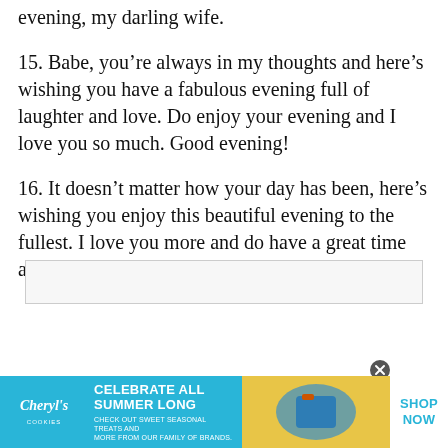evening, my darling wife.
15. Babe, you’re always in my thoughts and here’s wishing you have a fabulous evening full of laughter and love. Do enjoy your evening and I love you so much. Good evening!
16. It doesn’t matter how your day has been, here’s wishing you enjoy this beautiful evening to the fullest. I love you more and do have a great time ahead. Good evening, my dearest wife.
[Figure (screenshot): Advertisement banner for Cheryl's Cookies: cyan/blue background with Cheryl's Cookies logo on the left, text CELEBRATE ALL SUMMER LONG with subtext CHECK OUT SWEET SEASONAL TREATS AND MORE FROM OUR FAMILY OF BRANDS., a food photo in the center, and SHOP NOW in blue text on white background on the right. A close button (X) appears above the banner.]